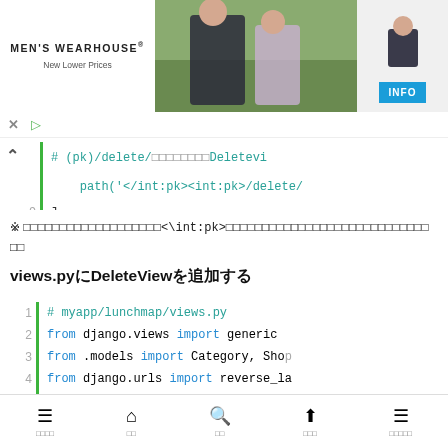[Figure (photo): Men's Wearhouse advertisement showing a couple in formal wear and a man in a suit, with INFO button]
# (pk)/delete/DeleteVi
path('</int:pk><int:pk>/delete/
9  ]
※ ＜\int:pk＞についての補足説明
views.pyにDeleteViewを追加する
[Figure (screenshot): Code block showing views.py with imports: # myapp/lunchmap/views.py, from django.views import generic, from .models import Category, Shop, from django.urls import reverse_la]
メニュー　　ホーム　　検索　　投稿　　お気に入り